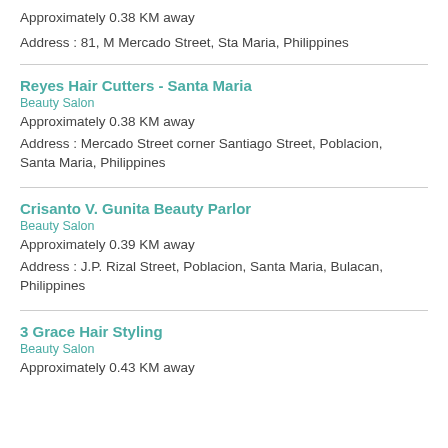Approximately 0.38 KM away
Address : 81, M Mercado Street, Sta Maria, Philippines
Reyes Hair Cutters - Santa Maria
Beauty Salon
Approximately 0.38 KM away
Address : Mercado Street corner Santiago Street, Poblacion, Santa Maria, Philippines
Crisanto V. Gunita Beauty Parlor
Beauty Salon
Approximately 0.39 KM away
Address : J.P. Rizal Street, Poblacion, Santa Maria, Bulacan, Philippines
3 Grace Hair Styling
Beauty Salon
Approximately 0.43 KM away